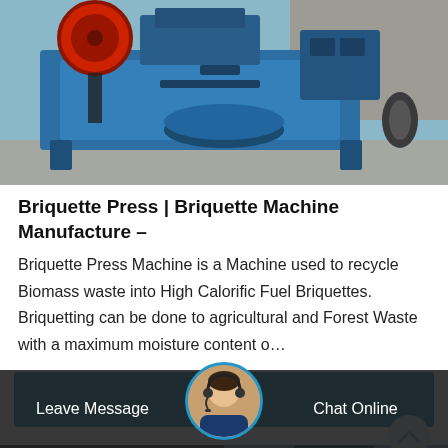[Figure (photo): A large blue industrial briquette press machine with a red flywheel, photographed outdoors.]
Briquette Press | Briquette Machine Manufacture –
Briquette Press Machine is a Machine used to recycle Biomass waste into High Calorific Fuel Briquettes. Briquetting can be done to agricultural and Forest Waste with a maximum moisture content o…
[Figure (screenshot): Get Price button - blue call-to-action button]
[Figure (photo): Two industrial machines shown at the bottom of the page, partially visible. A customer service representative avatar is shown in the center.]
Leave Message   Chat Online